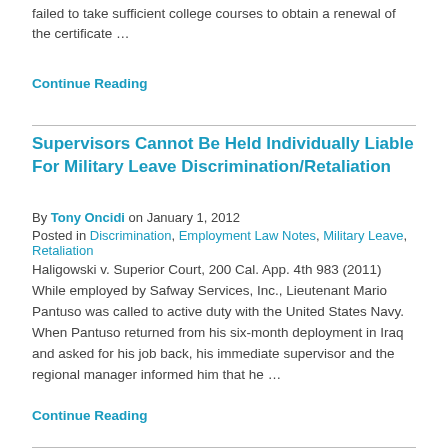failed to take sufficient college courses to obtain a renewal of the certificate …
Continue Reading
Supervisors Cannot Be Held Individually Liable For Military Leave Discrimination/Retaliation
By Tony Oncidi on January 1, 2012
Posted in Discrimination, Employment Law Notes, Military Leave, Retaliation
Haligowski v. Superior Court, 200 Cal. App. 4th 983 (2011) While employed by Safway Services, Inc., Lieutenant Mario Pantuso was called to active duty with the United States Navy. When Pantuso returned from his six-month deployment in Iraq and asked for his job back, his immediate supervisor and the regional manager informed him that he …
Continue Reading